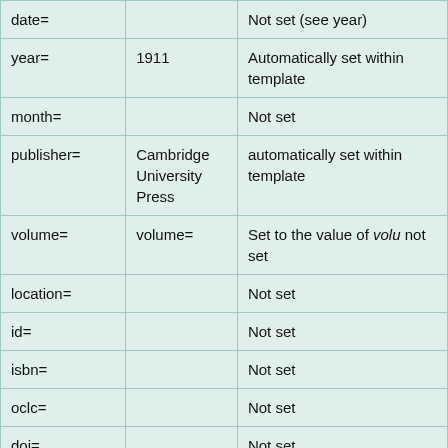| date= |  | Not set (see year) |
| year= | 1911 | Automatically set within template |
| month= |  | Not set |
| publisher= | Cambridge University Press | automatically set within template |
| volume= | volume= | Set to the value of volu not set |
| location= |  | Not set |
| id= |  | Not set |
| isbn= |  | Not set |
| oclc= |  | Not set |
| doi= |  | Not set |
|  |  | Set to the value of pag... |